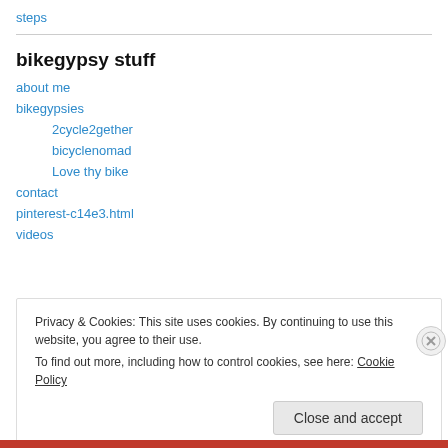steps
bikegypsy stuff
about me
bikegypsies
2cycle2gether
bicyclenomad
Love thy bike
contact
pinterest-c14e3.html
videos
Privacy & Cookies: This site uses cookies. By continuing to use this website, you agree to their use.
To find out more, including how to control cookies, see here: Cookie Policy
Close and accept